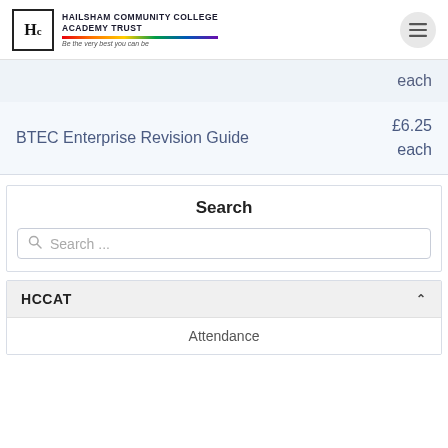Hailsham Community College Academy Trust — Be the very best you can be
each
BTEC Enterprise Revision Guide
£6.25 each
Search
Search ...
HCCAT
Attendance